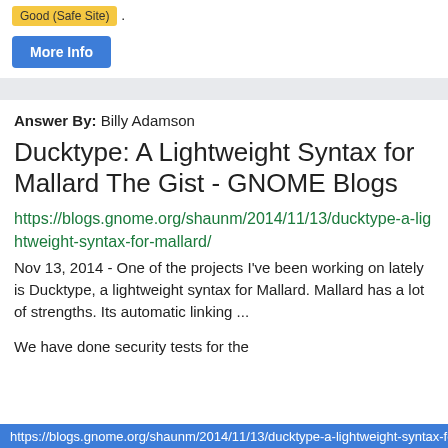Good (Safe Site) .
More Info
Answer By: Billy Adamson
Ducktype: A Lightweight Syntax for Mallard The Gist - GNOME Blogs
https://blogs.gnome.org/shaunm/2014/11/13/ducktype-a-lightweight-syntax-for-mallard/
Nov 13, 2014 - One of the projects I've been working on lately is Ducktype, a lightweight syntax for Mallard. Mallard has a lot of strengths. Its automatic linking ...
We have done security tests for the
https://blogs.gnome.org/shaunm/2014/11/13/ducktype-a-lightweight-syntax-for